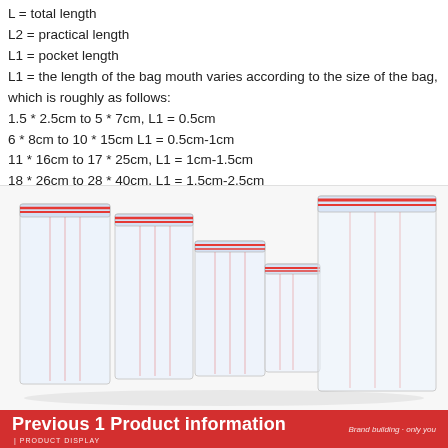L = total length
L2 = practical length
L1 = pocket length
L1 = the length of the bag mouth varies according to the size of the bag, which is roughly as follows:
1.5 * 2.5cm to 5 * 7cm, L1 = 0.5cm
6 * 8cm to 10 * 15cm L1 = 0.5cm-1cm
11 * 16cm to 17 * 25cm, L1 = 1cm-1.5cm
18 * 26cm to 28 * 40cm, L1 = 1.5cm-2.5cm
[Figure (photo): Photo of multiple clear plastic ziplock bags of different sizes arranged together, showing red zipper seals at the top]
Previous 1 Product information | PRODUCT DISPLAY    Brand building · only you